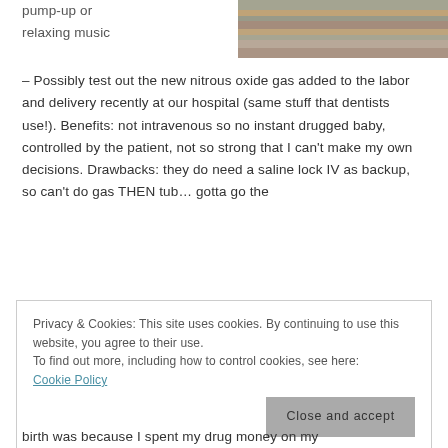pump-up or relaxing music
[Figure (photo): Photo of a woven textile or blanket with striped pattern in warm colors]
– Possibly test out the new nitrous oxide gas added to the labor and delivery recently at our hospital (same stuff that dentists use!). Benefits: not intravenous so no instant drugged baby, controlled by the patient, not so strong that I can't make my own decisions. Drawbacks: they do need a saline lock IV as backup, so can't do gas THEN tub… gotta go the...
Privacy & Cookies: This site uses cookies. By continuing to use this website, you agree to their use.
To find out more, including how to control cookies, see here: Cookie Policy
birth was because I spent my drug money on my